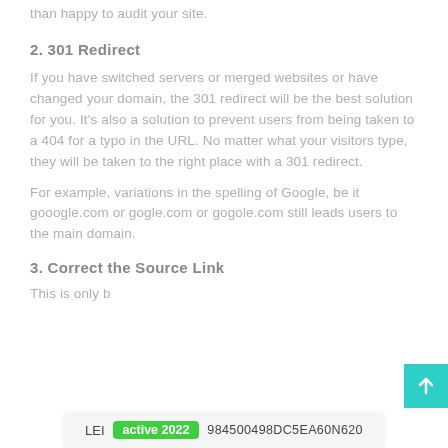than happy to audit your site.
2. 301 Redirect
If you have switched servers or merged websites or have changed your domain, the 301 redirect will be the best solution for you. It's also a solution to prevent users from being taken to a 404 for a typo in the URL. No matter what your visitors type, they will be taken to the right place with a 301 redirect.
For example, variations in the spelling of Google, be it gooogle.com or gogle.com or gogole.com still leads users to the main domain.
3. Correct the Source Link
This is only b... our
[Figure (other): Back to top button (teal/cyan arrow pointing up)]
LEI active 2022 984500498DC5EA60N620